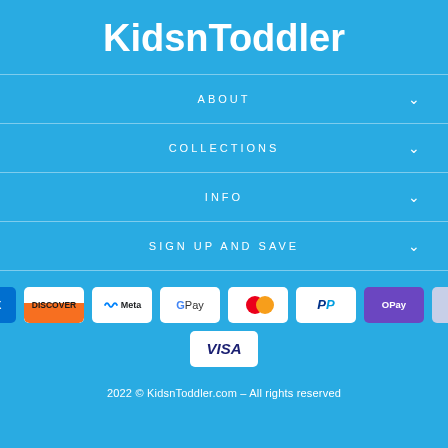KidsnToddler
ABOUT
COLLECTIONS
INFO
SIGN UP AND SAVE
[Figure (logo): Payment method icons: American Express, Discover, Meta Pay, Google Pay, Mastercard, PayPal, OPay, Venmo, Visa]
2022 © KidsnToddler.com – All rights reserved